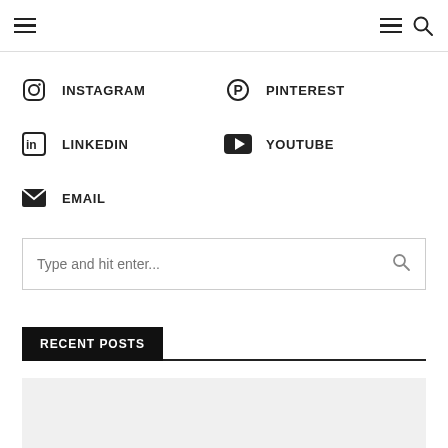Navigation bar with hamburger menu icons and search icon
INSTAGRAM
PINTEREST
LINKEDIN
YOUTUBE
EMAIL
Type and hit enter...
RECENT POSTS
[Figure (photo): Light gray image placeholder at the bottom of the page]